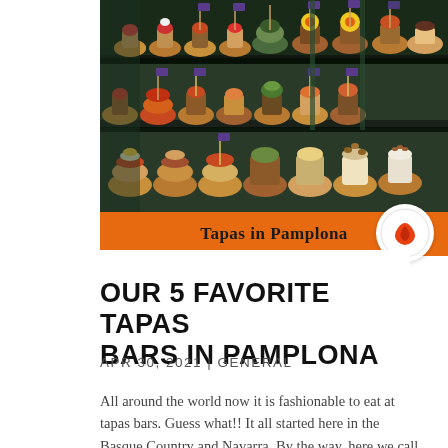[Figure (photo): Overhead view of a tapas bar display counter showing rows of pintxos (small bites on bread) with toothpick flags and various toppings including eggs, vegetables, and cured meats on multiple tiered shelves]
Tapas in Pamplona
OUR 5 FAVORITE TAPAS BARS IN PAMPLONA
APR 30, 2021 | GENERAL
All around the world now it is fashionable to eat at tapas bars. Guess what!! It all started here in the Basque Country and Navarra. By the way, here we call them pintxos But, what is a tapa? A tapa in the rest of the world is a small bite. That is